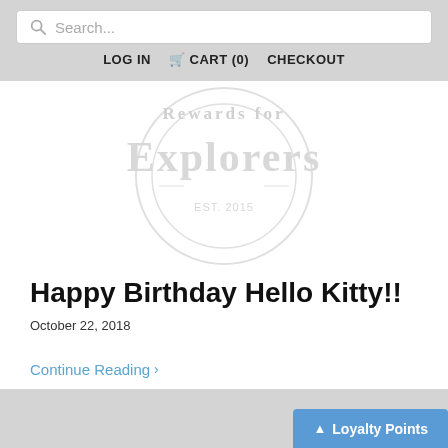Search... LOG IN CART (0) CHECKOUT
[Figure (illustration): Faded watermark-style circular logo/badge with text 'Rewards for Explorers' in light gray, barely visible on white background]
Happy Birthday Hello Kitty!!
October 22, 2018
Continue Reading >